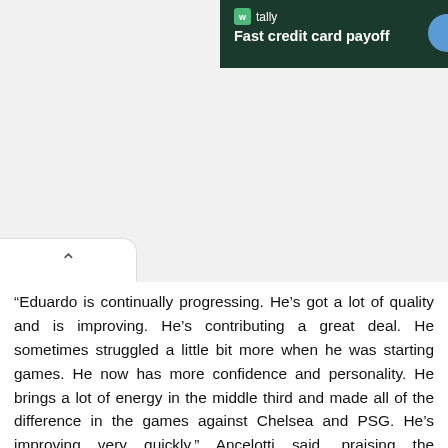[Figure (other): Tally app advertisement banner with dark green background showing Tally logo and text 'Fast credit card payoff']
“Eduardo is continually progressing. He’s got a lot of quality and is improving. He’s contributing a great deal. He sometimes struggled a little bit more when he was starting games. He now has more confidence and personality. He brings a lot of energy in the middle third and made all of the difference in the games against Chelsea and PSG. He’s improving very quickly,” Ancelotti said, praising the Frenchman.